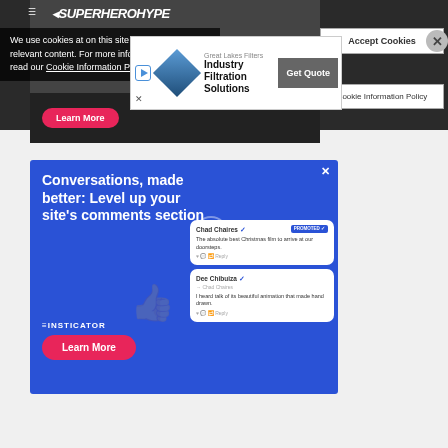[Figure (screenshot): SuperheroHype website header with dark background, logo, navigation icons]
We use cookies at on this site so we can serve relevant content. For more information please read our Cookie Information Policy
[Figure (screenshot): Great Lakes Filters Industry Filtration Solutions advertisement banner with Get Quote button]
[Figure (screenshot): Hero image area with dark background and Learn More button]
[Figure (advertisement): Insticator ad: Conversations, made better: Level up your site's comments section. Learn More button. Chat bubbles showing Chad Chaires and Dee Chibuiza comments.]